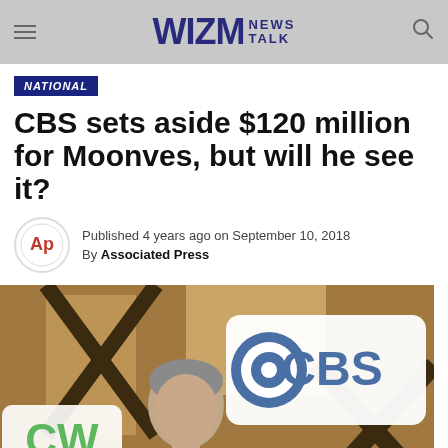WIZM NEWS TALK
NATIONAL
CBS sets aside $120 million for Moonves, but will he see it?
Published 4 years ago on September 10, 2018
By Associated Press
[Figure (photo): A man in a grey suit standing in front of CBS and CW network logo signs]